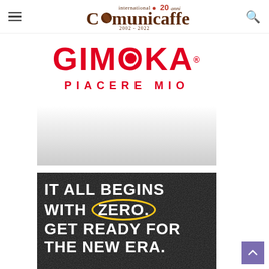International Comunicaffe 20 anni 2002-2022
[Figure (logo): Gimoka - Piacere Mio brand advertisement with red logo on white-to-grey gradient background]
[Figure (advertisement): Dark textured black background advertisement reading: IT ALL BEGINS WITH ZERO. GET READY FOR THE NEW ERA. with ZERO circled in yellow.]